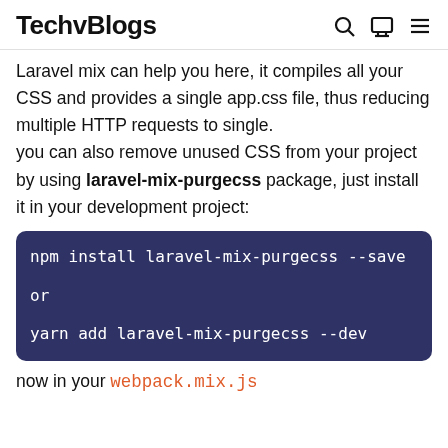TechvBlogs
Laravel mix can help you here, it compiles all your CSS and provides a single app.css file, thus reducing multiple HTTP requests to single.
you can also remove unused CSS from your project by using laravel-mix-purgecss package, just install it in your development project:
now in your webpack.mix.js